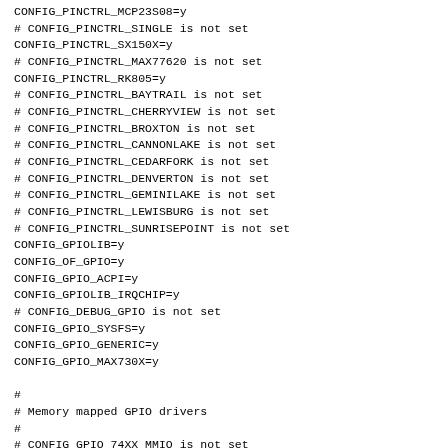CONFIG_PINCTRL_MCP23S08=y
# CONFIG_PINCTRL_SINGLE is not set
CONFIG_PINCTRL_SX150X=y
# CONFIG_PINCTRL_MAX77620 is not set
CONFIG_PINCTRL_RK805=y
# CONFIG_PINCTRL_BAYTRAIL is not set
# CONFIG_PINCTRL_CHERRYVIEW is not set
# CONFIG_PINCTRL_BROXTON is not set
# CONFIG_PINCTRL_CANNONLAKE is not set
# CONFIG_PINCTRL_CEDARFORK is not set
# CONFIG_PINCTRL_DENVERTON is not set
# CONFIG_PINCTRL_GEMINILAKE is not set
# CONFIG_PINCTRL_LEWISBURG is not set
# CONFIG_PINCTRL_SUNRISEPOINT is not set
CONFIG_GPIOLIB=y
CONFIG_OF_GPIO=y
CONFIG_GPIO_ACPI=y
CONFIG_GPIOLIB_IRQCHIP=y
# CONFIG_DEBUG_GPIO is not set
CONFIG_GPIO_SYSFS=y
CONFIG_GPIO_GENERIC=y
CONFIG_GPIO_MAX730X=y

#
# Memory mapped GPIO drivers
#
# CONFIG_GPIO_74XX_MMIO is not set
CONFIG_GPIO_ALTERA=y
# CONFIG_GPIO_AMDPT is not set
CONFIG_GPIO_DWAPB=y